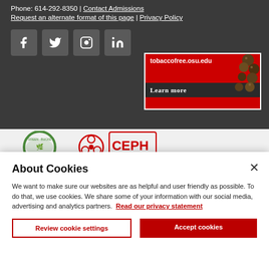Phone: 614-292-8350 | Contact Admissions
Request an alternate format of this page | Privacy Policy
[Figure (other): Social media icons: Facebook, Twitter, Instagram, LinkedIn as grey square buttons]
[Figure (other): Tobacco-free banner: tobaccofree.osu.edu with red background and 'Learn more' link]
[Figure (logo): Green Buckeye logo (partial) and CEPH logo (partial) on light grey background]
About Cookies
We want to make sure our websites are as helpful and user friendly as possible. To do that, we use cookies. We share some of your information with our social media, advertising and analytics partners.  Read our privacy statement
Review cookie settings
Accept cookies